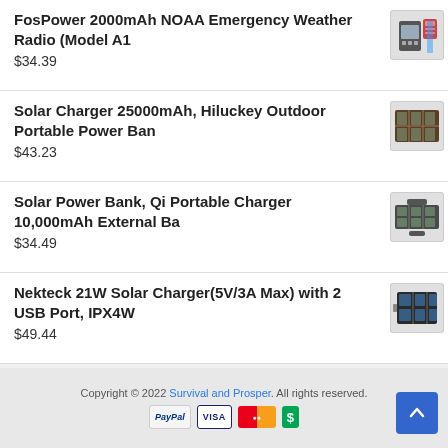FosPower 2000mAh NOAA Emergency Weather Radio (Model A1
Solar Charger 25000mAh, Hiluckey Outdoor Portable Power Ban
Solar Power Bank, Qi Portable Charger 10,000mAh External Ba
Nekteck 21W Solar Charger(5V/3A Max) with 2 USB Port, IPX4W
Copyright © 2022 Survival and Prosper. All rights reserved.